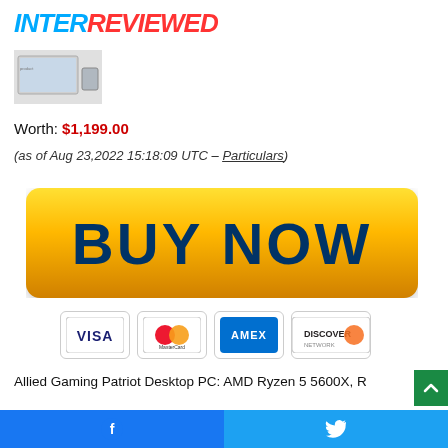INTERREVIEWED
[Figure (photo): Small product image thumbnail of desktop PC]
Worth: $1,199.00
(as of Aug 23,2022 15:18:09 UTC – Particulars)
[Figure (illustration): Yellow BUY NOW button with gradient background]
[Figure (illustration): Payment icons: VISA, MasterCard, AMEX, DISCOVER]
Allied Gaming Patriot Desktop PC: AMD Ryzen 5 5600X, R
Facebook and Twitter share buttons